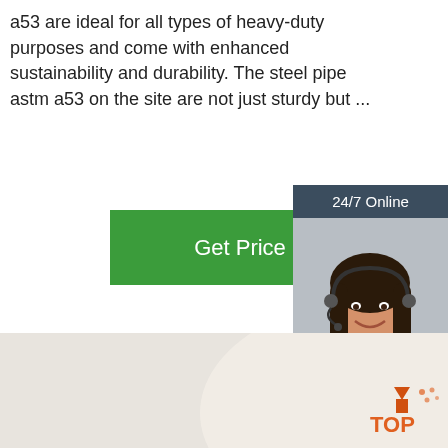a53 are ideal for all types of heavy-duty purposes and come with enhanced sustainability and durability. The steel pipe astm a53 on the site are not just sturdy but ...
[Figure (other): Green 'Get Price' button]
[Figure (other): Sidebar widget with '24/7 Online' header, photo of woman with headset, 'Click here for free chat!' text, and orange QUOTATION button]
[Figure (photo): Photo of coiled steel wire rods bundled with yellow tape in a warehouse setting]
[Figure (logo): Orange TOP badge logo in bottom right corner]